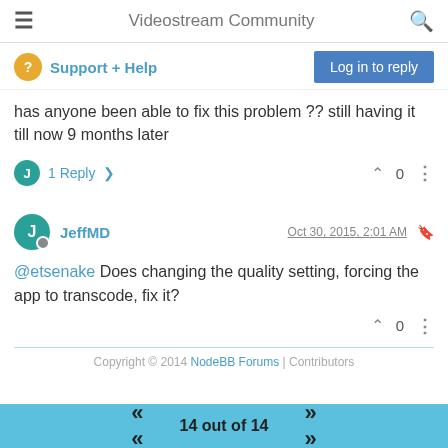Videostream Community
Support + Help
has anyone been able to fix this problem ?? still having it till now 9 months later
1 Reply >   0
JeffMD  Oct 30, 2015, 2:01 AM
@etsenake Does changing the quality setting, forcing the app to transcode, fix it?
Copyright © 2014 NodeBB Forums | Contributors
14 out of 14